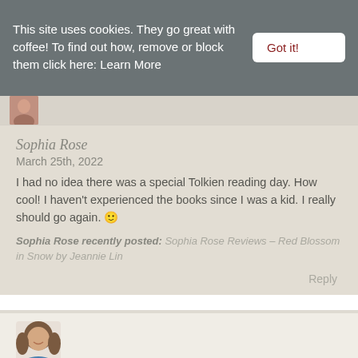This site uses cookies. They go great with coffee! To find out how, remove or block them click here: Learn More
Got it!
[Figure (photo): Small avatar/profile photo thumbnail at top of comment]
Sophia Rose
March 25th, 2022
I had no idea there was a special Tolkien reading day. How cool! I haven't experienced the books since I was a kid. I really should go again. 🙂
Sophia Rose recently posted: Sophia Rose Reviews – Red Blossom in Snow by Jeannie Lin
Reply
[Figure (photo): Profile photo of a woman with brown hair wearing a blue top]